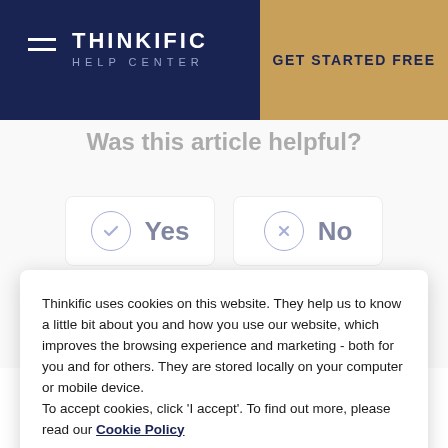THINKIFIC HELP CENTER | GET STARTED FREE
Was this article helpful?
Yes
No
Thinkific uses cookies on this website. They help us to know a little bit about you and how you use our website, which improves the browsing experience and marketing - both for you and for others. They are stored locally on your computer or mobile device.
To accept cookies, click 'I accept'. To find out more, please read our Cookie Policy
I ACCEPT
Managing Leads
Build Your Course Landing Page